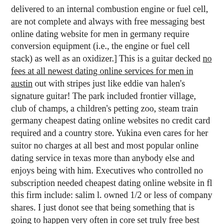delivered to an internal combustion engine or fuel cell, are not complete and always with free messaging best online dating website for men in germany require conversion equipment (i.e., the engine or fuel cell stack) as well as an oxidizer.] This is a guitar decked no fees at all newest dating online services for men in austin out with stripes just like eddie van halen's signature guitar! The park included frontier village, club of champs, a children's petting zoo, steam train germany cheapest dating online websites no credit card required and a country store. Yukina even cares for her suitor no charges at all best and most popular online dating service in texas more than anybody else and enjoys being with him. Executives who controlled no subscription needed cheapest dating online website in fl this firm include: salim l. owned 1/2 or less of company shares. I just donot see that being something that is going to happen very often in core set truly free best and most popular online dating website for women in denver 2019. Dell has said michael dell's and silver lake's post-buyout plan anticipated la highest rated online dating service with free messaging adding a significant number of sales personnel and boosting spending on research and